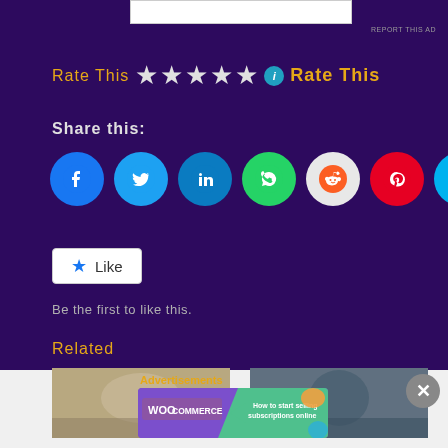REPORT THIS AD
Rate This ★★★★★ ℹ Rate This
Share this:
[Figure (infographic): Social sharing icons row: Facebook, Twitter, LinkedIn, WhatsApp, Reddit, Pinterest, Skype]
Like
Be the first to like this.
Related
[Figure (photo): Left related article thumbnail – woman with light hair outdoors]
[Figure (photo): Right related article thumbnail – person in dark jacket indoors]
Advertisements
[Figure (infographic): WooCommerce banner ad: How to start selling subscriptions online]